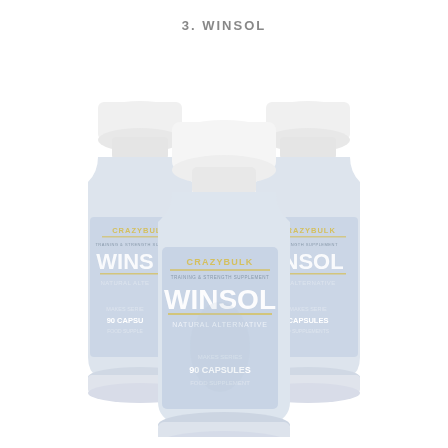3. WINSOL
[Figure (photo): Three bottles of CrazyBulk Winsol natural alternative supplement, 90 capsules food supplement, arranged with one center-front and two behind on left and right sides. Bottles are white with light blue/grey labels showing CRAZYBULK branding and WINSOL product name.]